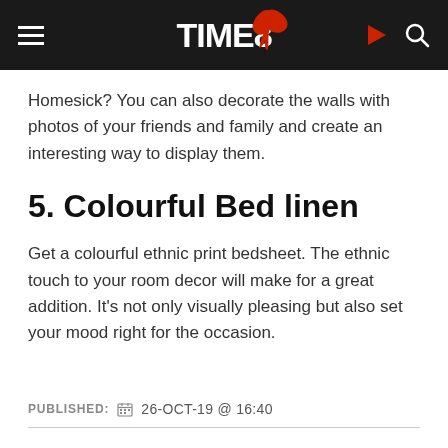TIME8
Homesick? You can also decorate the walls with photos of your friends and family and create an interesting way to display them.
5. Colourful Bed linen
Get a colourful ethnic print bedsheet. The ethnic touch to your room decor will make for a great addition. It’s not only visually pleasing but also set your mood right for the occasion.
PUBLISHED: 26-OCT-19 @ 16:40